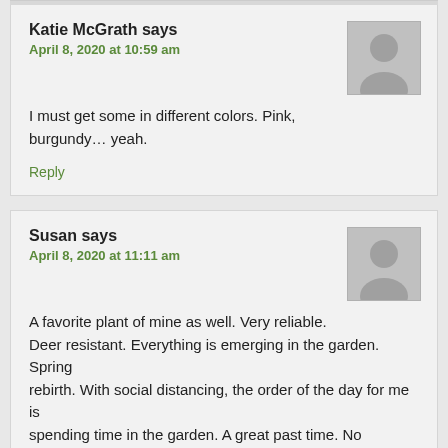Katie McGrath says
April 8, 2020 at 10:59 am
I must get some in different colors. Pink, burgundy… yeah.
Reply
Susan says
April 8, 2020 at 11:11 am
A favorite plant of mine as well. Very reliable. Deer resistant. Everything is emerging in the garden. Spring rebirth. With social distancing, the order of the day for me is spending time in the garden. A great past time. No shortage of tasks when the garden is involved. Keep safe everyone.
Reply